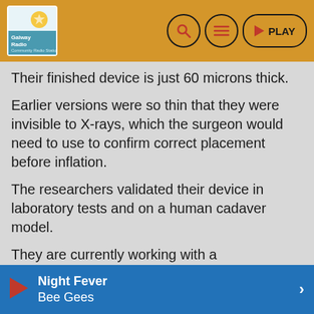Galway Radio / [logo] / Search / Menu / PLAY
Their finished device is just 60 microns thick.
Earlier versions were so thin that they were invisible to X-rays, which the surgeon would need to use to confirm correct placement before inflation.
The researchers validated their device in laboratory tests and on a human cadaver model.
They are currently working with a manufacturing partner to further develop and scale-up their device and are hoping to begin tests in patients within two to three years.
The research is reported in the journal Science Advances.
Published: 25/06/2021 by Radio NewsHub
Night Fever Bee Gees